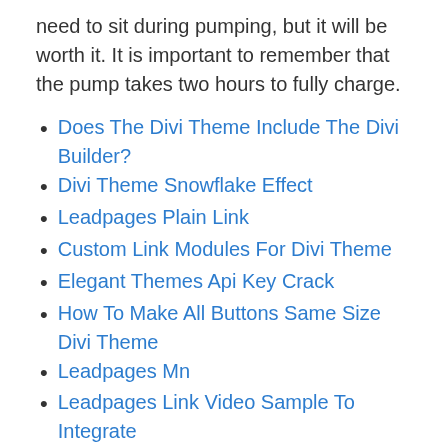need to sit during pumping, but it will be worth it. It is important to remember that the pump takes two hours to fully charge.
Does The Divi Theme Include The Divi Builder?
Divi Theme Snowflake Effect
Leadpages Plain Link
Custom Link Modules For Divi Theme
Elegant Themes Api Key Crack
How To Make All Buttons Same Size Divi Theme
Leadpages Mn
Leadpages Link Video Sample To Integrate
Divi Theme Turn Off Hamburger Menu
Elegant Themes Edit Border Gallery